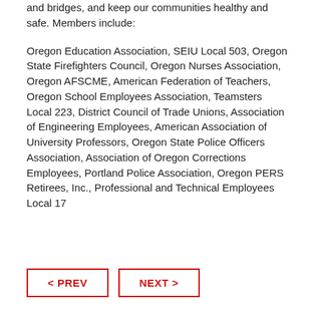and bridges, and keep our communities healthy and safe. Members include:
Oregon Education Association, SEIU Local 503, Oregon State Firefighters Council, Oregon Nurses Association, Oregon AFSCME, American Federation of Teachers, Oregon School Employees Association, Teamsters Local 223, District Council of Trade Unions, Association of Engineering Employees, American Association of University Professors, Oregon State Police Officers Association, Association of Oregon Corrections Employees, Portland Police Association, Oregon PERS Retirees, Inc., Professional and Technical Employees Local 17
< PREV   NEXT >